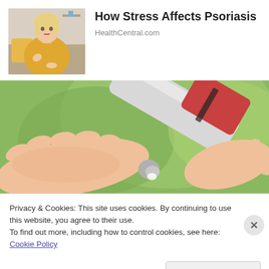[Figure (photo): Woman in yellow sweater looking at her arm, sitting on a couch]
How Stress Affects Psoriasis
HealthCentral.com
[Figure (photo): Close-up of a hand applying cream from a tube onto another hand, green blurred background]
Privacy & Cookies: This site uses cookies. By continuing to use this website, you agree to their use.
To find out more, including how to control cookies, see here: Cookie Policy
Close and accept